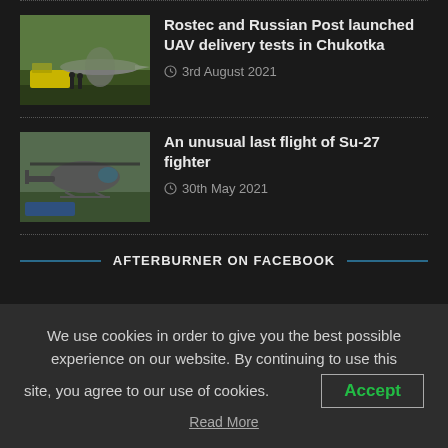[Figure (photo): Thumbnail image of UAV/aircraft on ground with yellow vehicle, Chukotka delivery test]
Rostec and Russian Post launched UAV delivery tests in Chukotka
3rd August 2021
[Figure (photo): Thumbnail image of military helicopter (Su-27 related) in flight]
An unusual last flight of Su-27 fighter
30th May 2021
AFTERBURNER ON FACEBOOK
We use cookies in order to give you the best possible experience on our website. By continuing to use this site, you agree to our use of cookies.
Accept
Read More